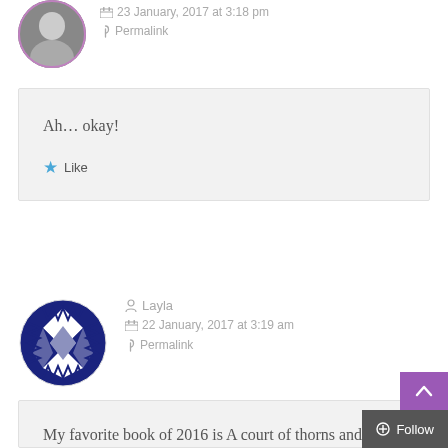[Figure (photo): Round avatar photo of a person, partially visible at top]
23 January, 2017 at 3:18 pm
Permalink
Ah... okay!
Like
[Figure (illustration): Round avatar with blue and white geometric/quilt pattern design for user Layla]
Layla
22 January, 2017 at 3:19 am
Permalink
My favorite book of 2016 is A court of thorns and roses...
Liked by 1 person